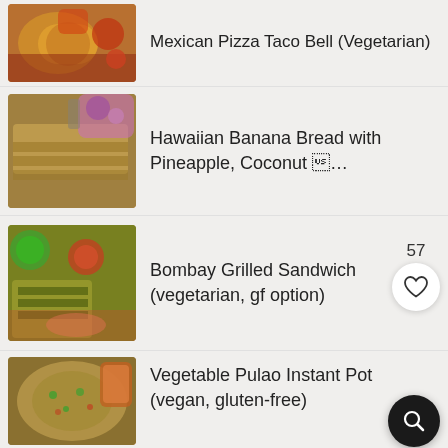Mexican Pizza Taco Bell (Vegetarian)
Hawaiian Banana Bread with Pineapple, Coconut 🍍…
Bombay Grilled Sandwich (vegetarian, gf option)
Vegetable Pulao Instant Pot (vegan, gluten-free)